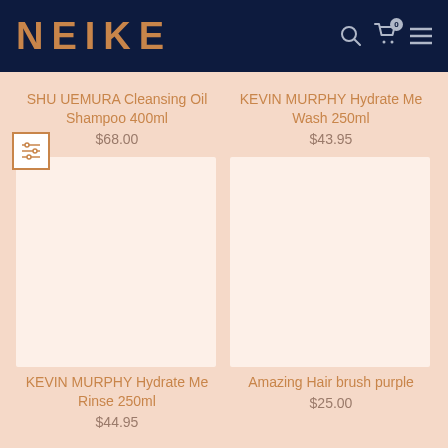NEIKE
SHU UEMURA Cleansing Oil Shampoo 400ml
$68.00
KEVIN MURPHY Hydrate Me Wash 250ml
$43.95
[Figure (other): Product image placeholder left - KEVIN MURPHY Hydrate Me Rinse 250ml]
[Figure (other): Product image placeholder right - Amazing Hair brush purple]
KEVIN MURPHY Hydrate Me Rinse 250ml
$44.95
Amazing Hair brush purple
$25.00